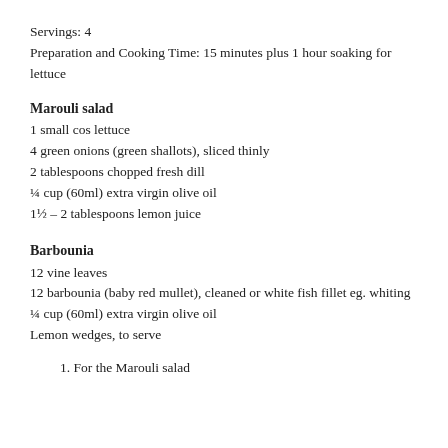Servings: 4
Preparation and Cooking Time: 15 minutes plus 1 hour soaking for lettuce
Marouli salad
1 small cos lettuce
4 green onions (green shallots), sliced thinly
2 tablespoons chopped fresh dill
¼ cup (60ml) extra virgin olive oil
1½ – 2 tablespoons lemon juice
Barbounia
12 vine leaves
12 barbounia (baby red mullet), cleaned or white fish fillet eg. whiting
¼ cup (60ml) extra virgin olive oil
Lemon wedges, to serve
1.  For the Marouli salad